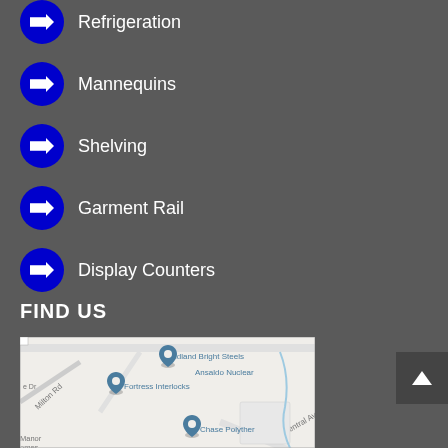Refrigeration
Mannequins
Shelving
Garment Rail
Display Counters
FIND US
[Figure (map): Google Maps screenshot showing location with pins for Midland Bright Steels, Ansaldo Nuclear, Fortress Interlocks, and Chase Polythem. Streets visible include e Dr, Milton Rd, Central Ave, and Manor homes area.]